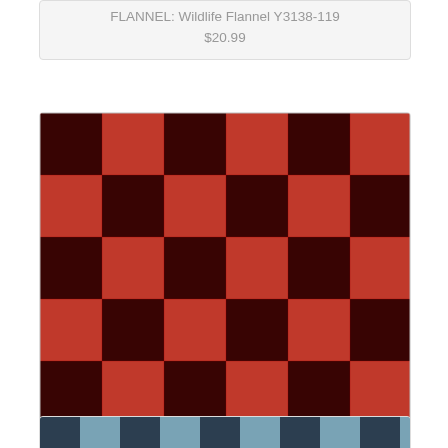FLANNEL: Wildlife Flannel Y3138-119
$20.99
[Figure (photo): Red and black buffalo check plaid flannel fabric swatch for Wildlife Flannel Y3139-80]
FLANNEL: Wildlife Flannel Y3139-80
$20.99
[Figure (photo): Partial view of another flannel fabric swatch at bottom of page]